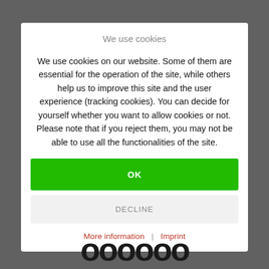We use cookies
We use cookies on our website. Some of them are essential for the operation of the site, while others help us to improve this site and the user experience (tracking cookies). You can decide for yourself whether you want to allow cookies or not. Please note that if you reject them, you may not be able to use all the functionalities of the site.
OK
DECLINE
More information | Imprint